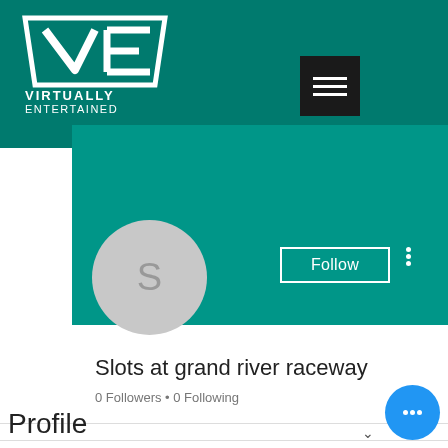[Figure (logo): Virtually Entertained logo with VE monogram on dark teal background]
[Figure (screenshot): Mobile app profile page for 'Slots at grand river raceway' with Follow button, avatar showing S, 0 Followers, 0 Following, and Profile section]
Slots at grand river raceway
0 Followers • 0 Following
Profile